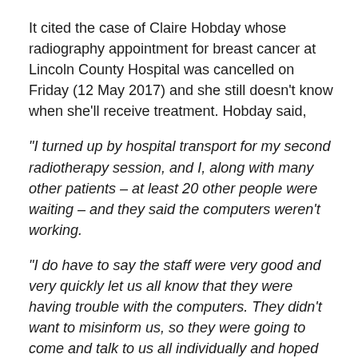It cited the case of Claire Hobday whose radiography appointment for breast cancer at Lincoln County Hospital was cancelled on Friday (12 May 2017) and she still doesn't know when she'll receive treatment. Hobday said,
“I turned up by hospital transport for my second radiotherapy session, and I, along with many other patients – at least 20 other people were waiting – and they said the computers weren’t working.
“I do have to say the staff were very good and very quickly let us all know that they were having trouble with the computers. They didn’t want to misinform us, so they were going to come and talk to us all individually and hoped they would be able to rectify it.
“Within half an hour or so they came out and said, ‘We’re